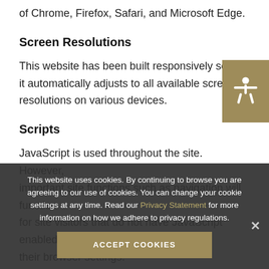of Chrome, Firefox, Safari, and Microsoft Edge.
Screen Resolutions
[Figure (illustration): Accessibility icon button (person with arms outstretched) on a tan/gold background, positioned top-right]
This website has been built responsively so that it automatically adjusts to all available screen resolutions on various devices.
Scripts
JavaScript is used throughout the site. However, important site functions such as navigation will function for site visitors that do not have JavaScript enabled in their browser settings.
Web Assistance ... ility
This website uses cookies. By continuing to browse you are agreeing to our use of cookies. You can change your cookie settings at any time. Read our Privacy Statement for more information on how we adhere to privacy regulations.